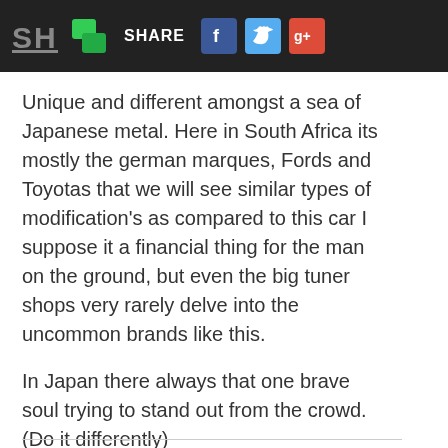SH | SHARE [Facebook] [Twitter] [Google+]
Unique and different amongst a sea of Japanese metal. Here in South Africa its mostly the german marques, Fords and Toyotas that we will see similar types of modification's as compared to this car I suppose it a financial thing for the man on the ground, but even the big tuner shops very rarely delve into the uncommon brands like this.
In Japan there always that one brave soul trying to stand out from the crowd. (Do it differently)
Share